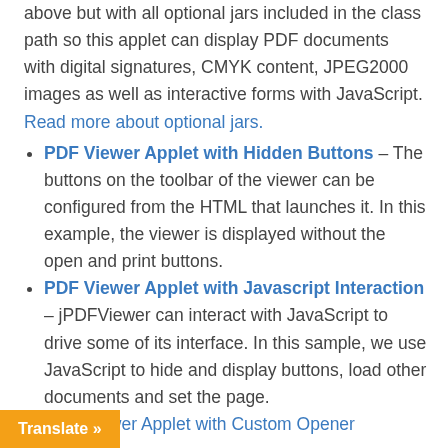above but with all optional jars included in the class path so this applet can display PDF documents with digital signatures, CMYK content, JPEG2000 images as well as interactive forms with JavaScript. Read more about optional jars.
PDF Viewer Applet with Hidden Buttons – The buttons on the toolbar of the viewer can be configured from the HTML that launches it. In this example, the viewer is displayed without the open and print buttons.
PDF Viewer Applet with Javascript Interaction – jPDFViewer can interact with JavaScript to drive some of its interface. In this sample, we use JavaScript to hide and display buttons, load other documents and set the page.
PDF Viewer Applet with Custom Opener